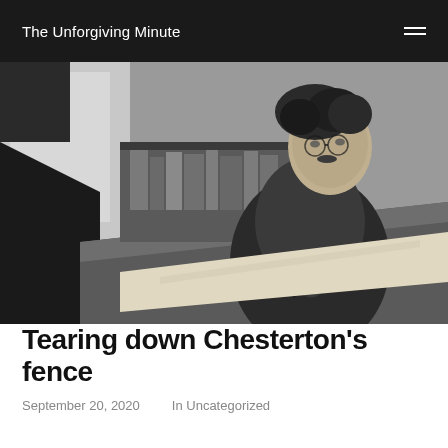The Unforgiving Minute
[Figure (photo): Black and white photograph of G.K. Chesterton sitting at a desk, writing with a pen on paper. He has curly hair, glasses, and is wearing a suit jacket. A bookshelf and window are visible in the background.]
Tearing down Chesterton's fence
September 20, 2020    In Uncategorized